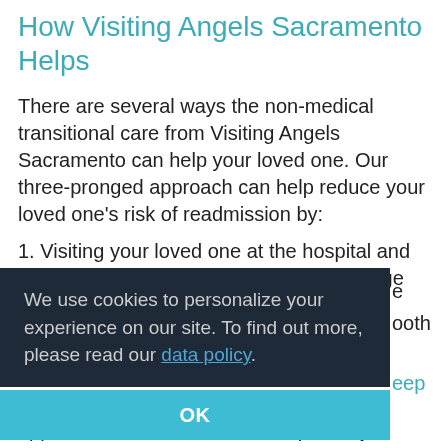How Visiting Angels Sacramento Helps
There are several ways the non-medical transitional care from Visiting Angels Sacramento can help your loved one. Our three-pronged approach can help reduce your loved one's risk of readmission by:
1. Visiting your loved one at the hospital and providing them with a copy of our discharge [continues]
We use cookies to personalize your experience on our site. To find out more, please read our data policy.
OK